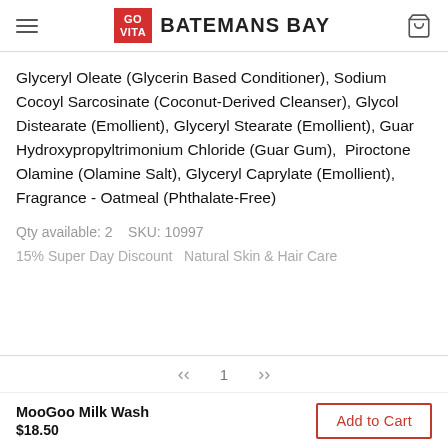GO VITA BATEMANS BAY
Glyceryl Oleate (Glycerin Based Conditioner), Sodium Cocoyl Sarcosinate (Coconut-Derived Cleanser), Glycol Distearate (Emollient), Glyceryl Stearate (Emollient), Guar Hydroxypropyltrimonium Chloride (Guar Gum),  Piroctone Olamine (Olamine Salt), Glyceryl Caprylate (Emollient), Fragrance - Oatmeal (Phthalate-Free)
Qty available: 2    SKU: 10997
15% Super Day Discount   Natural Skin & Hair Care
MooGoo Milk Wash
$18.50
Add to Cart